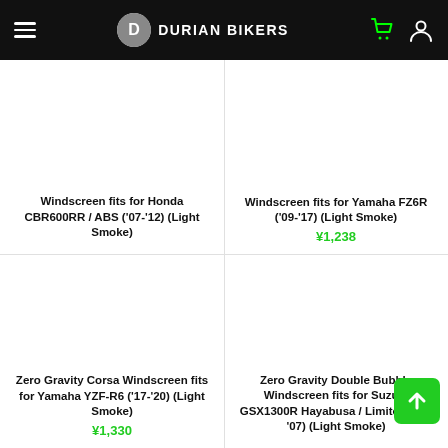DURIAN BIKERS
Windscreen fits for Honda CBR600RR / ABS ('07-'12) (Light Smoke)
Windscreen fits for Yamaha FZ6R ('09-'17) (Light Smoke) ¥1,238
Zero Gravity Corsa Windscreen fits for Yamaha YZF-R6 ('17-'20) (Light Smoke) ¥1,330
Zero Gravity Double Bubble Windscreen fits for Suzuki GSX1300R Hayabusa / Limited ('99-'07) (Light Smoke)